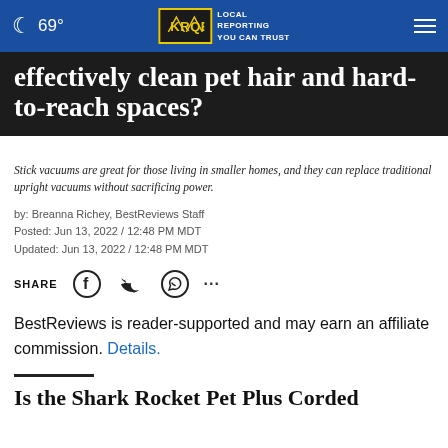69° | KRQE LOCAL REPORTING YOU CAN TRUST
effectively clean pet hair and hard-to-reach spaces?
Stick vacuums are great for those living in smaller homes, and they can replace traditional upright vacuums without sacrificing power.
by: Breanna Richey, BestReviews Staff
Posted: Jun 13, 2022 / 12:48 PM MDT
Updated: Jun 13, 2022 / 12:48 PM MDT
SHARE
BestReviews is reader-supported and may earn an affiliate commission. Details.
Is the Shark Rocket Pet Plus Corded